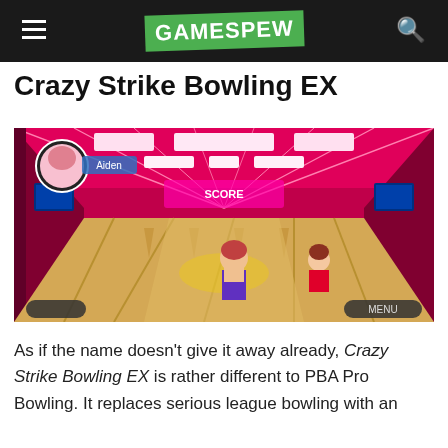GAMESPEW
Crazy Strike Bowling EX
[Figure (screenshot): Screenshot of Crazy Strike Bowling EX video game showing an anime-style bowling alley with pink neon lighting, multiple lanes, and anime character avatars bowling.]
As if the name doesn't give it away already, Crazy Strike Bowling EX is rather different to PBA Pro Bowling. It replaces serious league bowling with an